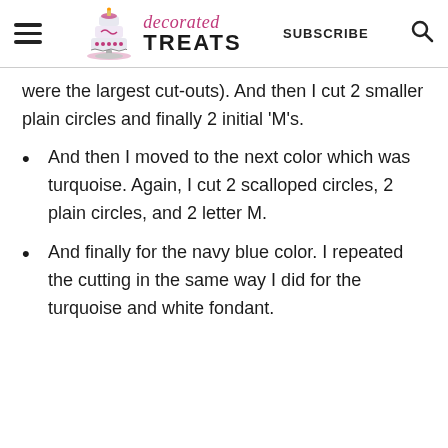decorated TREATS | SUBSCRIBE
were the largest cut-outs). And then I cut 2 smaller plain circles and finally 2 initial 'M's.
And then I moved to the next color which was turquoise. Again, I cut 2 scalloped circles, 2 plain circles, and 2 letter M.
And finally for the navy blue color. I repeated the cutting in the same way I did for the turquoise and white fondant.